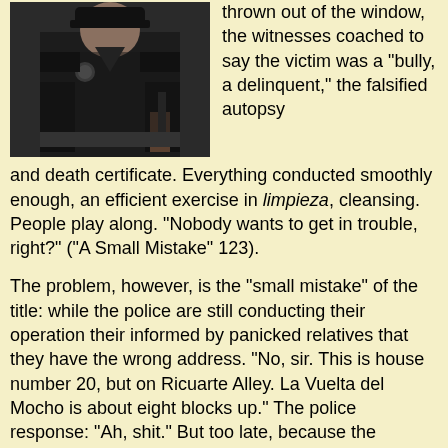[Figure (photo): Black and white photo of a police officer in dark uniform holding what appears to be a weapon or baton]
thrown out of the window, the witnesses coached to say the victim was a "bully, a delinquent," the falsified autopsy and death certificate. Everything conducted smoothly enough, an efficient exercise in limpieza, cleansing. People play along. "Nobody wants to get in trouble, right?" ("A Small Mistake" 123).
The problem, however, is the "small mistake" of the title: while the police are still conducting their operation their informed by panicked relatives that they have the wrong address. "No, sir. This is house number 20, but on Ricuarte Alley. La Vuelta del Mocho is about eight blocks up." The police response: "Ah, shit." But too late, because the bureaucratic machinery of law enforcement can't be halted so easily. After all, it operates according to its own logic, at some remove from reality. The drugs and weapons have already been planted. The original victim is infinitely replaceable; the objects of state repression are "whatever" victims, their individual names interchangeable and ultimately irrelevant. Due process and procedure can't be